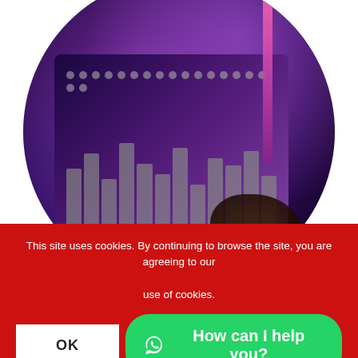[Figure (photo): Circular cropped photo of a music mixing console/audio workstation bathed in purple and pink LED lighting, with a person's hand visible at the bottom right]
SERVICES
No project is too big, too small, too complicated or too
This site uses cookies. By continuing to browse the site, you are agreeing to our use of cookies.
OK
How can I help you?